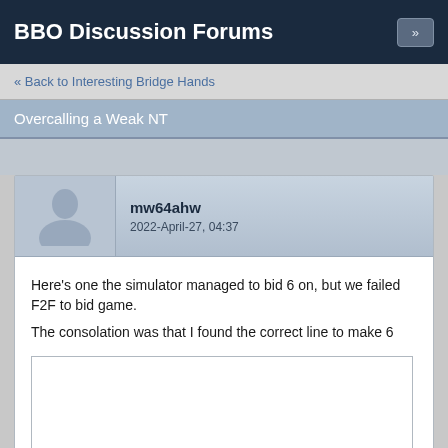BBO Discussion Forums
« Back to Interesting Bridge Hands
Overcalling a Weak NT
mw64ahw
2022-April-27, 04:37
Here's one the simulator managed to bid 6 on, but we failed F2F to bid game.
The consolation was that I found the correct line to make 6
[Figure (other): Empty white box representing a bridge hand diagram or image (content not visible)]